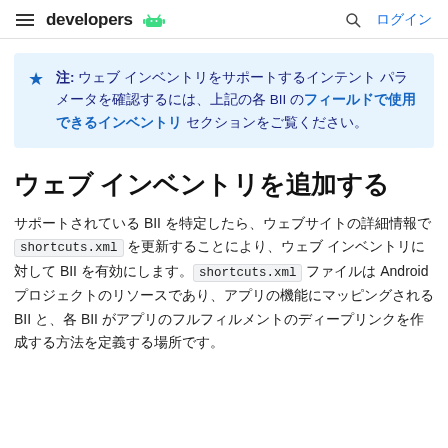≡  developers 🤖   🔍 ログイン
注: ウェブ インベントリをサポートするインテント パラメータを確認するには、上記の各 BII の フィールドで使用できるインベントリ セクションをご覧ください。
ウェブ インベントリを追加する
サポートされている BII を特定したら、ウェブサイトの詳細情報で shortcuts.xml を更新することにより、ウェブ インベントリに対して BII を有効にします。 shortcuts.xml ファイルは Android プロジェクトのリソースであり、アプリの機能にマッピングされる BII と、各 BII がアプリのフルフィルメントのディープリンクを作成する方法を定義する場所です。